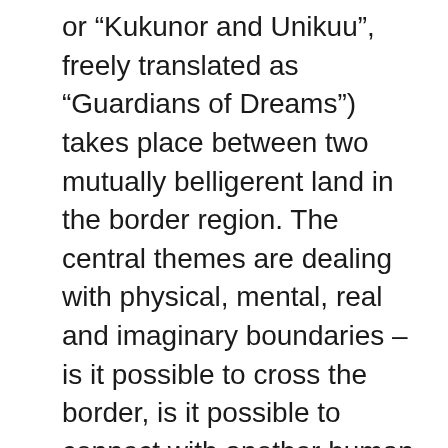or “Kukunor and Unikuu”, freely translated as “Guardians of Dreams”) takes place between two mutually belligerent land in the border region. The central themes are dealing with physical, mental, real and imaginary boundaries – is it possible to cross the border, is it possible to connect with another human being despite the border? In the Kukunor man and woman have been guardians of the different sides of the border for six years, and they have learned to communicate with each other, despite having different languages, different cultures, different sexes. The human